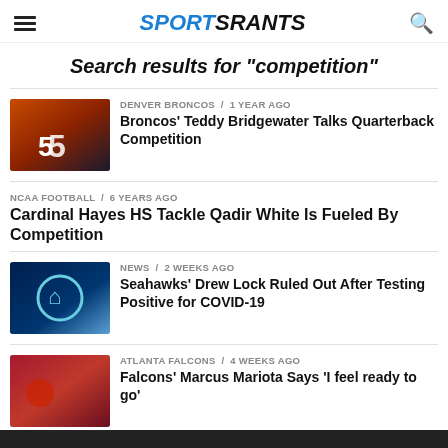SPORTSRANTS
Search results for "competition"
DENVER BRONCOS / 1 year ago — Broncos' Teddy Bridgewater Talks Quarterback Competition
NCAA FOOTBALL / 6 years ago — Cardinal Hayes HS Tackle Qadir White Is Fueled By Competition
NEWS / 2 weeks ago — Seahawks' Drew Lock Ruled Out After Testing Positive for COVID-19
ATLANTA FALCONS / 4 weeks ago — Falcons' Marcus Mariota Says 'I feel ready to go'